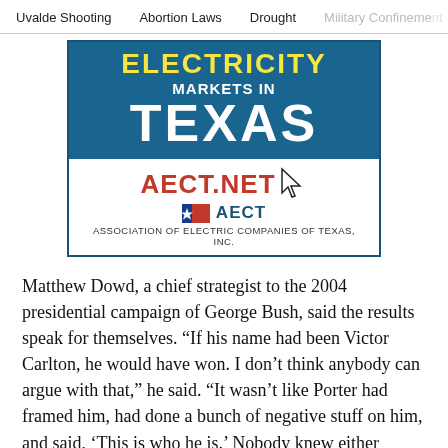Uvalde Shooting   Abortion Laws   Drought   Military Confinement
[Figure (illustration): Advertisement for AECT.NET - Association of Electric Companies of Texas, Inc. Shows 'ELECTRICITY MARKETS IN TEXAS' in large text on a blue background, with AECT.NET in red below, AECT logo with Texas flag, and cursor icon.]
Matthew Dowd, a chief strategist to the 2004 presidential campaign of George Bush, said the results speak for themselves. “If his name had been Victor Carlton, he would have won. I don’t think anybody can argue with that,” he said. “It wasn’t like Porter had framed him, had done a bunch of negative stuff on him, and said, ‘This is who he is.’ Nobody knew either